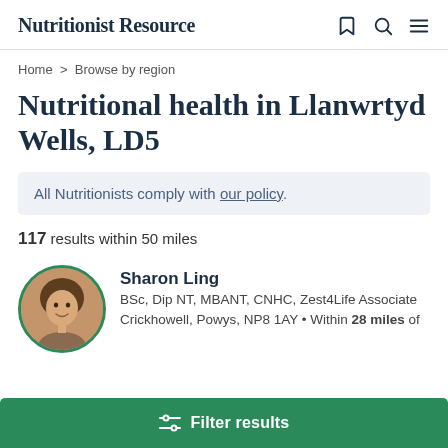Nutritionist Resource
Home > Browse by region
Nutritional health in Llanwrtyd Wells, LD5
All Nutritionists comply with our policy.
117 results within 50 miles
[Figure (photo): Circular profile photo of Sharon Ling with green border]
Sharon Ling
BSc, Dip NT, MBANT, CNHC, Zest4Life Associate
Crickhowell, Powys, NP8 1AY • Within 28 miles of
Filter results